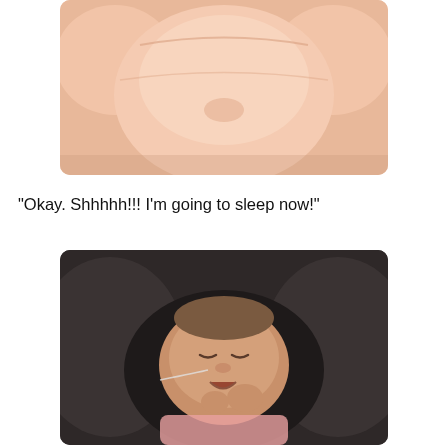[Figure (photo): Close-up photo of a chubby baby's belly and torso, pink skin with rolls of fat, cropped at top.]
“Okay. Shhhhh!!! I’m going to sleep now!”
[Figure (photo): Photo of a newborn baby sleeping on a dark pillow/cushion, mouth slightly open mid-yawn, hands tucked near face, with a small nasal tube.]